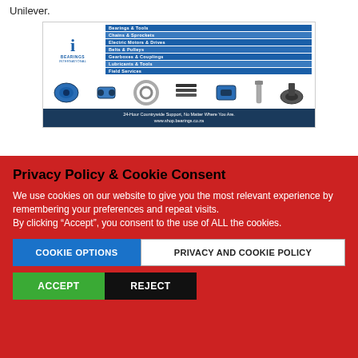Unilever.
[Figure (logo): Bearings International advertisement banner showing logo, product categories menu (Bearings & Tools, Chains & Sprockets, Electric Motors & Drives, Belts & Pulleys, Gearboxes & Couplings, Lubricants & Tools, Field Services), industrial product images (motor, coupling, bearing ring, conveyor parts, gearbox, bolt, pillow block), and footer text '24-Hour Countrywide Support, No Matter Where You Are. www.shop.bearings.co.za']
Privacy Policy & Cookie Consent
We use cookies on our website to give you the most relevant experience by remembering your preferences and repeat visits.
By clicking “Accept”, you consent to the use of ALL the cookies.
COOKIE OPTIONS
PRIVACY AND COOKIE POLICY
ACCEPT
REJECT